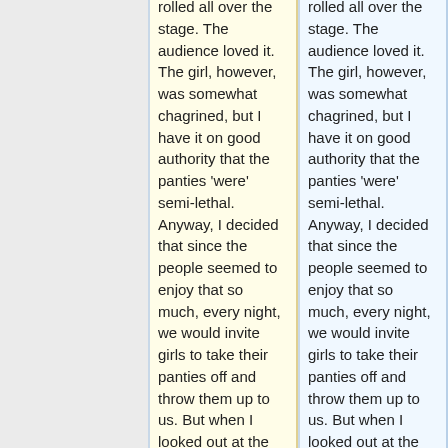rolled all over the stage. The audience loved it. The girl, however, was somewhat chagrined, but I have it on good authority that the panties 'were' semi-lethal. Anyway, I decided that since the people seemed to enjoy that so much, every night, we would invite girls to take their panties off and throw them up to us. But when I looked out at the audience, I
rolled all over the stage. The audience loved it. The girl, however, was somewhat chagrined, but I have it on good authority that the panties 'were' semi-lethal. Anyway, I decided that since the people seemed to enjoy that so much, every night, we would invite girls to take their panties off and throw them up to us. But when I looked out at the audience, I